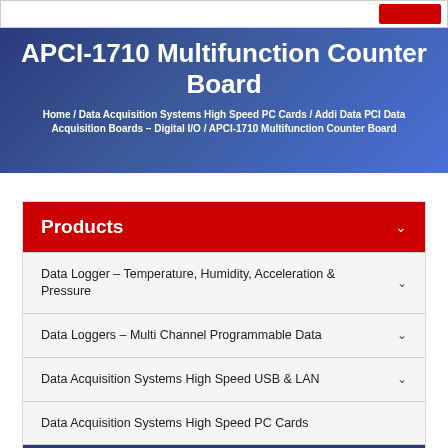APCI-1710 Multifunction Counter Board
Home / Data Acquisition Systems High Speed PC Cards / Addi Data PCI Data Acquisition Boards – Digital I/O / APCI-1710 Multifunction Counter Board
Products
Data Logger – Temperature, Humidity, Acceleration & Pressure
Data Loggers – Multi Channel Programmable Data
Data Acquisition Systems High Speed USB & LAN
Data Acquisition Systems High Speed PC Cards
Addi Data PCI Data Acquisition Boards – Digital I/O